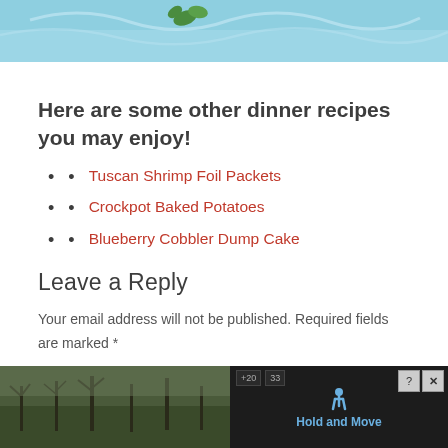[Figure (photo): Top portion of a food photo showing a blue decorative cake or dish with a green herb garnish]
Here are some other dinner recipes you may enjoy!
Tuscan Shrimp Foil Packets
Crockpot Baked Potatoes
Blueberry Cobbler Dump Cake
Leave a Reply
Your email address will not be published. Required fields are marked *
Recipe Rating
[Figure (screenshot): Advertisement overlay showing a dark background with a person icon, 'Hold and Move' text in blue, and close buttons in top right corner; photo of trees in background]